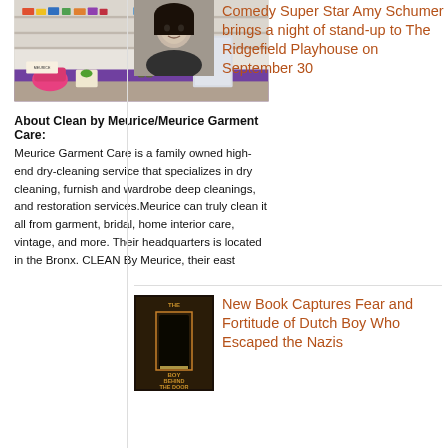[Figure (photo): Person standing in what appears to be a store or studio with colorful items on shelves and a purple rug on the floor]
About Clean by Meurice/Meurice Garment Care:
Meurice Garment Care is a family owned high-end dry-cleaning service that specializes in dry cleaning, furnish and wardrobe deep cleanings, and restoration services.Meurice can truly clean it all from garment, bridal, home interior care, vintage, and more. Their headquarters is located in the Bronx. CLEAN By Meurice, their east...
[Figure (photo): Black and white portrait photo of Amy Schumer]
Comedy Super Star Amy Schumer brings a night of stand-up to The Ridgefield Playhouse on September 30
[Figure (photo): Book cover: The Boy Behind the Door]
New Book Captures Fear and Fortitude of Dutch Boy Who Escaped the Nazis